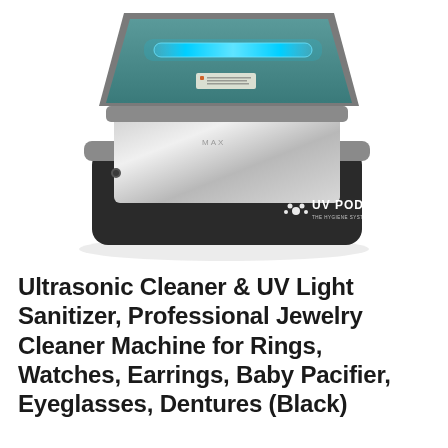[Figure (photo): UV Pod ultrasonic cleaner and UV light sanitizer device. A rectangular black box with a grey rim and open lid. The lid interior shows a glowing blue UV light tube. The interior has a stainless steel basin. The front of the black body shows the UV POD logo in white with a paw print icon.]
Ultrasonic Cleaner & UV Light Sanitizer, Professional Jewelry Cleaner Machine for Rings, Watches, Earrings, Baby Pacifier, Eyeglasses, Dentures (Black)